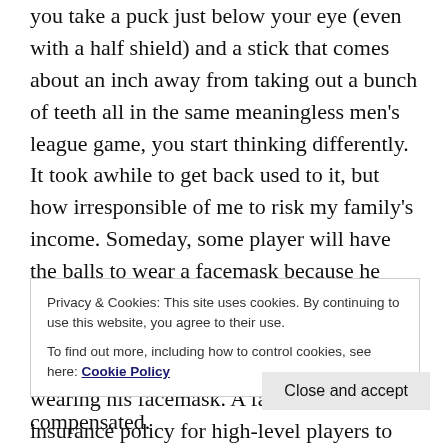you take a puck just below your eye (even with a half shield) and a stick that comes about an inch away from taking out a bunch of teeth all in the same meaningless men's league game, you start thinking differently. It took awhile to get back used to it, but how irresponsible of me to risk my family's income. Someday, some player will have the balls to wear a facemask because he knows his entire life is important and he knows his odds of avoid life-ending or life-altering injuries are a lot less if he keeps wearing his facemask. A facemask is an insurance policy for high-level players to increase the odds they can continue to keep playing and
Privacy & Cookies: This site uses cookies. By continuing to use this website, you agree to their use.
To find out more, including how to control cookies, see here: Cookie Policy
Close and accept
compensated.